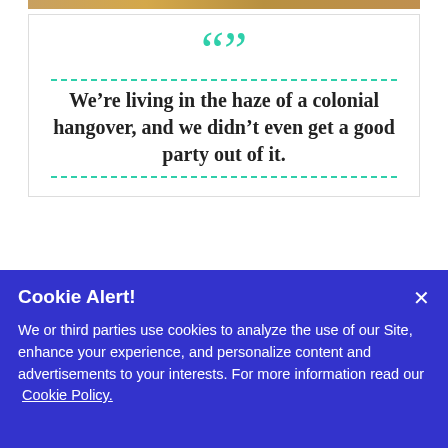[Figure (photo): Top portion of a photo, cropped, showing warm golden/orange tones — likely food or an outdoor scene]
“” We’re living in the haze of a colonial hangover, and we didn’t even get a good party out of it.
Human Beings Are Animals—and There’s Nothing Wrong With That
Cookie Alert! × We or third parties use cookies to analyze the use of our Site, enhance your experience, and personalize content and advertisements to your interests. For more information read our Cookie Policy.